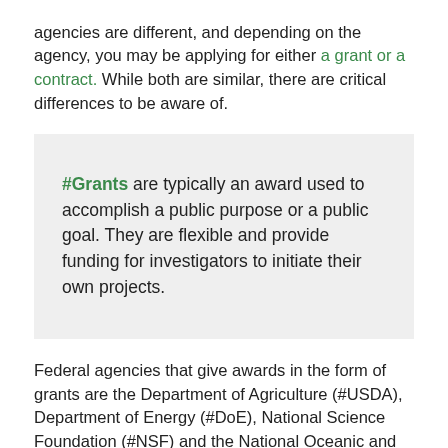agencies are different, and depending on the agency, you may be applying for either a grant or a contract. While both are similar, there are critical differences to be aware of.
#Grants are typically an award used to accomplish a public purpose or a public goal. They are flexible and provide funding for investigators to initiate their own projects.
Federal agencies that give awards in the form of grants are the Department of Agriculture (#USDA), Department of Energy (#DoE), National Science Foundation (#NSF) and the National Oceanic and Atmospheric Administration (#NOAA).
Contracts, on the other hand, are less focused on meeting a public goal, and more focused on creating a good or service that is of direct benefit to the